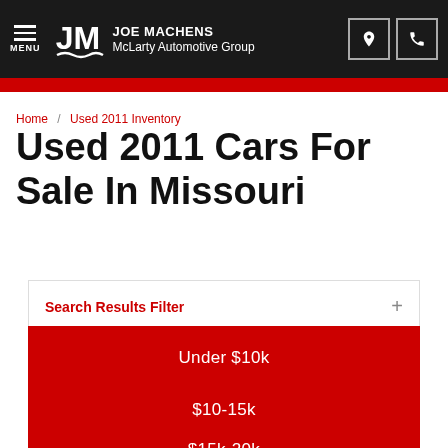JOE MACHENS McLarty Automotive Group — MENU header
Home / Used 2011 Inventory
Used 2011 Cars For Sale In Missouri
Search Results Filter +
Under $10k
$10-15k
$15k-20k